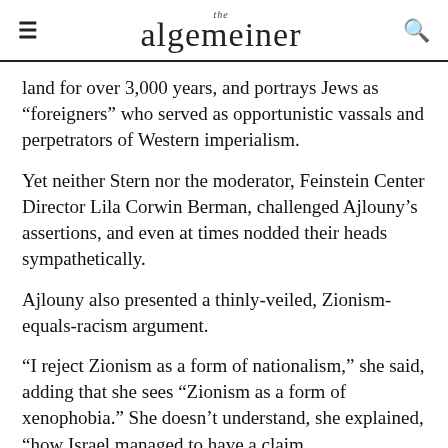the algemeiner
land for over 3,000 years, and portrays Jews as “foreigners” who served as opportunistic vassals and perpetrators of Western imperialism.
Yet neither Stern nor the moderator, Feinstein Center Director Lila Corwin Berman, challenged Ajlouny’s assertions, and even at times nodded their heads sympathetically.
Ajlouny also presented a thinly-veiled, Zionism-equals-racism argument.
“I reject Zionism as a form of nationalism,” she said, adding that she sees “Zionism as a form of xenophobia.” She doesn’t understand, she explained, “how Israel managed to have a claim